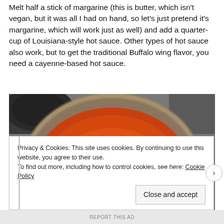Melt half a stick of margarine (this is butter, which isn't vegan, but it was all I had on hand, so let's just pretend it's margarine, which will work just as well) and add a quarter-cup of Louisiana-style hot sauce. Other types of hot sauce also work, but to get the traditional Buffalo wing flavor, you need a cayenne-based hot sauce.
[Figure (photo): A metal saucepan viewed from above containing a bright orange-red hot sauce and butter mixture, sitting on a dark gray stovetop surface with another pan partially visible in the upper left.]
Privacy & Cookies: This site uses cookies. By continuing to use this website, you agree to their use.
To find out more, including how to control cookies, see here: Cookie Policy
Close and accept